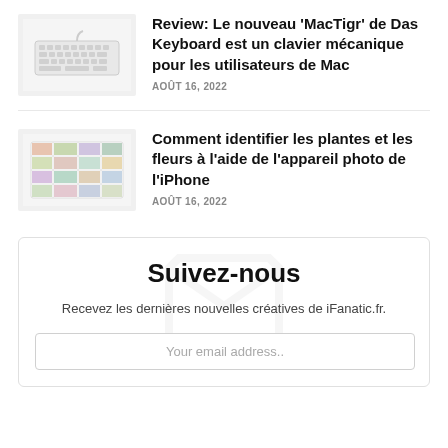[Figure (photo): Thumbnail image of a white mechanical keyboard (Das Keyboard MacTigr)]
Review: Le nouveau 'MacTigr' de Das Keyboard est un clavier mécanique pour les utilisateurs de Mac
AOÛT 16, 2022
[Figure (screenshot): Thumbnail image showing a grid/table UI for plant/flower identification]
Comment identifier les plantes et les fleurs à l'aide de l'appareil photo de l'iPhone
AOÛT 16, 2022
Suivez-nous
Recevez les dernières nouvelles créatives de iFanatic.fr.
Your email address..